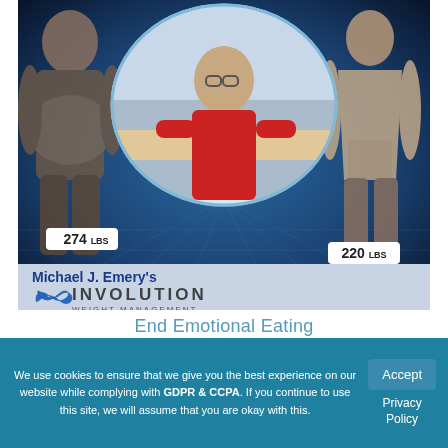[Figure (photo): Weight loss before/after photo composite showing a man at 274 lbs on the left and 220 lbs on the right, with a center oval portrait of Michael J. Emery in a red shirt, set against a dark blue tech background. Bottom banner reads 'Michael J. Emery's Involution Weight Management' with infinity logo.]
End Emotional Eating
We use cookies to ensure that we give you the best experience on our website while complying with GDPR & CCPA. If you continue to use this site, we will assume that you are okay with this.
Accept
Privacy Policy